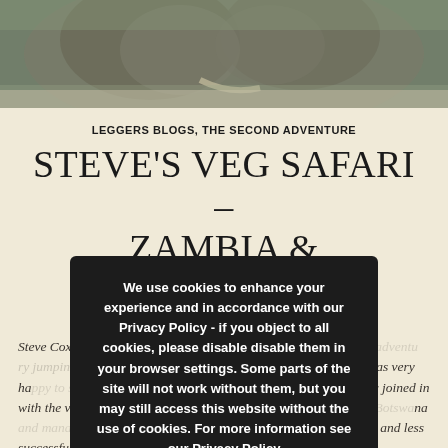[Figure (photo): Partial view of an elephant with grey textured skin, photographed outdoors with green foliage in background. Only the top portion of the animal is visible.]
LEGGERS BLOGS, THE SECOND ADVENTURE
STEVE'S VEG SAFARI – ZAMBIA & BOTSWANA
SEPTEMBER 6, 2019  LEAVE A COMMENT
Steve Cox has joined us on trips before, by way of the Dangerless... by jumping jaunts around Euro... nt though, and I was very ha... and even more so since he h... tedly joined in with the vegan th... travelling around Zambia and Bo... d to tell the tale...despite some... al and less successful cooking!
We use cookies to enhance your experience and in accordance with our Privacy Policy - if you object to all cookies, please disable disable them in your browser settings. Some parts of the site will not work without them, but you may still access this website without the use of cookies. For more information see our Privacy Policy
ACCEPT